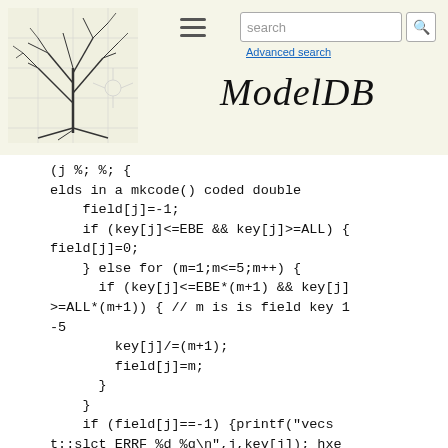ModelDB — Advanced search
Code fragment showing NEURON/HOC field selection logic with mkcode() coded double field assignment, conditional key range checks (EBE, ALL), loop for m=1 to 5, key[j] scaling, error printing via printf and hxe(), and hoc_execerror for vector length mismatch.